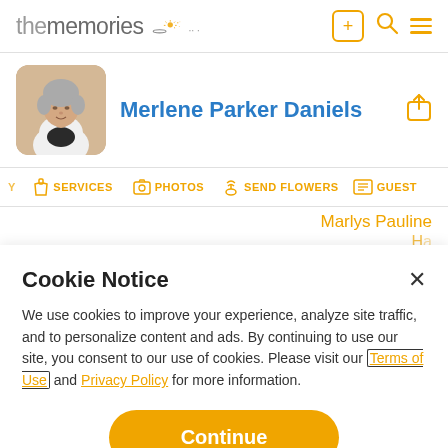thememories
[Figure (photo): Profile photo of an elderly woman with gray hair, wearing a white jacket and dark top]
Merlene Parker Daniels
SERVICES | PHOTOS | SEND FLOWERS | GUEST
Marlys Pauline
Cookie Notice
We use cookies to improve your experience, analyze site traffic, and to personalize content and ads. By continuing to use our site, you consent to our use of cookies. Please visit our Terms of Use and Privacy Policy for more information.
Continue